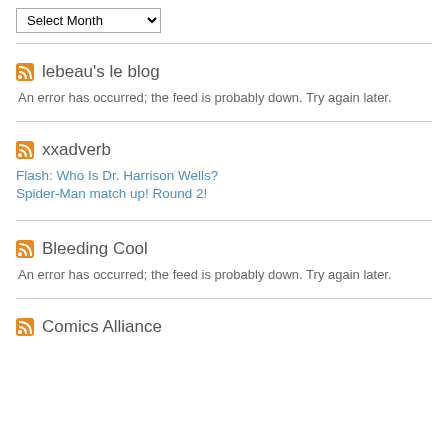Select Month
lebeau's le blog
An error has occurred; the feed is probably down. Try again later.
xxadverb
Flash: Who Is Dr. Harrison Wells?
Spider-Man match up! Round 2!
Bleeding Cool
An error has occurred; the feed is probably down. Try again later.
Comics Alliance